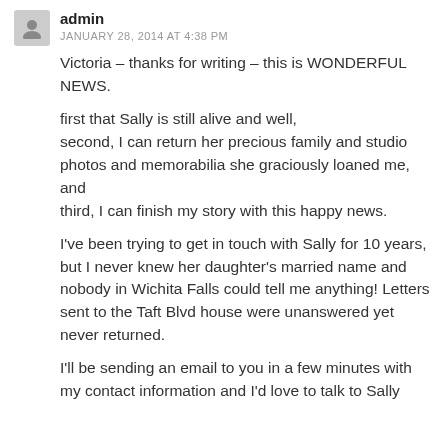admin
JANUARY 28, 2014 AT 4:38 PM
Victoria – thanks for writing – this is WONDERFUL NEWS.
first that Sally is still alive and well,
second, I can return her precious family and studio photos and memorabilia she graciously loaned me, and
third, I can finish my story with this happy news.
I've been trying to get in touch with Sally for 10 years, but I never knew her daughter's married name and nobody in Wichita Falls could tell me anything! Letters sent to the Taft Blvd house were unanswered yet never returned.
I'll be sending an email to you in a few minutes with my contact information and I'd love to talk to Sally